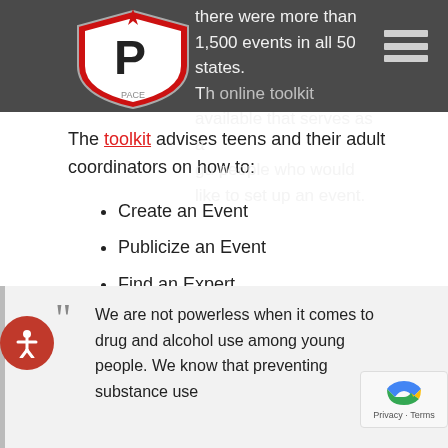there were more than 1,500 events in all 50 states. There is an online toolkit available that serves as a guide for people who would like to set up an event.
The toolkit advises teens and their adult coordinators on how to:
Create an Event
Publicize an Event
Find an Expert
Obtain Scientific Information on Drugs
We are not powerless when it comes to drug and alcohol use among young people. We know that preventing substance use